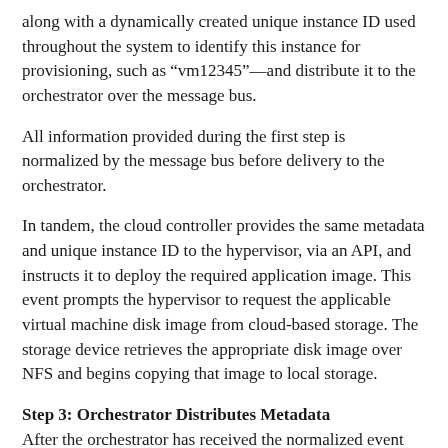along with a dynamically created unique instance ID used throughout the system to identify this instance for provisioning, such as “vm12345”—and distribute it to the orchestrator over the message bus.
All information provided during the first step is normalized by the message bus before delivery to the orchestrator.
In tandem, the cloud controller provides the same metadata and unique instance ID to the hypervisor, via an API, and instructs it to deploy the required application image. This event prompts the hypervisor to request the applicable virtual machine disk image from cloud-based storage. The storage device retrieves the appropriate disk image over NFS and begins copying that image to local storage.
Step 3: Orchestrator Distributes Metadata
After the orchestrator has received the normalized event information and metadata from the message bus, it then kicks off two different workflows that simultaneously push